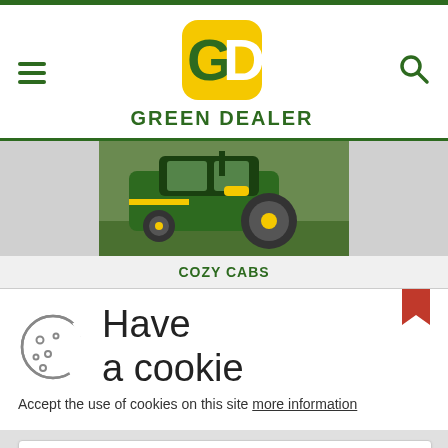GREEN DEALER
[Figure (photo): Green John Deere compact tractor with cab, viewed from the side-front, parked on grass]
COZY CABS
[Figure (infographic): Cookie consent overlay with cookie icon, text 'Have a cookie', accept button]
Accept the use of cookies on this site more information
I Accept